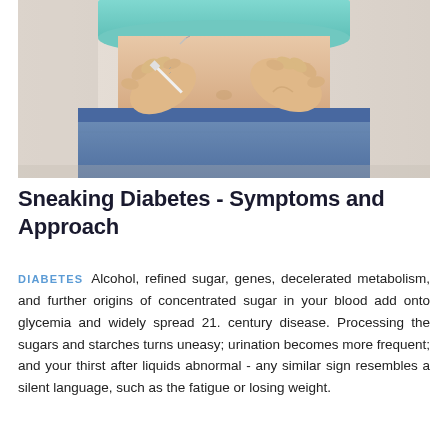[Figure (photo): Close-up photo of a person in a blue-green crop top and jeans injecting insulin into their abdomen with a small syringe.]
Sneaking Diabetes - Symptoms and Approach
DIABETES Alcohol, refined sugar, genes, decelerated metabolism, and further origins of concentrated sugar in your blood add onto glycemia and widely spread 21. century disease. Processing the sugars and starches turns uneasy; urination becomes more frequent; and your thirst after liquids abnormal - any similar sign resembles a silent language, such as the fatigue or losing weight.